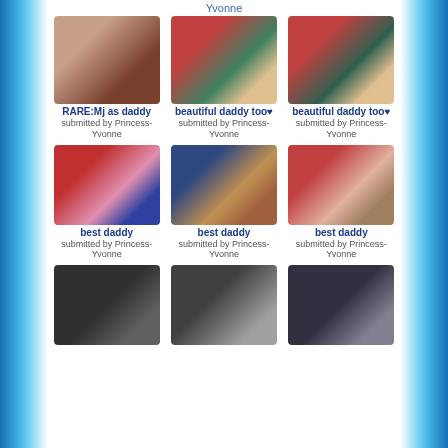Yvonne
[Figure (photo): Black and white photo of person from behind in indoor setting]
RARE:Mj as daddy
submitted by Princess-Yvonne
[Figure (photo): Color photo of Michael Jackson in red shirt with child in pink dress at party]
beautiful daddy too♥
submitted by Princess-Yvonne
[Figure (photo): Color photo of Michael Jackson in red shirt with child in pink dress at party - duplicate]
beautiful daddy too♥
submitted by Princess-Yvonne
[Figure (photo): Color photo of Michael Jackson with children at Christmas party]
best daddy
submitted by Princess-Yvonne
[Figure (photo): Color photo of people at indoor party with child walking]
best daddy
submitted by Princess-Yvonne
[Figure (photo): Color photo of woman in red with children at table]
best daddy
submitted by Princess-Yvonne
[Figure (photo): Black and white portrait of Michael Jackson smiling]
[Figure (photo): Black and white close-up portrait of Michael Jackson looking up]
[Figure (photo): Black and white portrait of Michael Jackson with long hair]